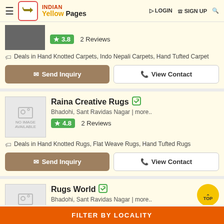INDIAN Yellow Pages | LOGIN | SIGN UP
★ 3.8  2 Reviews
Deals in Hand Knotted Carpets, Indo Nepali Carpets, Hand Tufted Carpet
Send Inquiry | View Contact
Raina Creative Rugs — Bhadohi, Sant Ravidas Nagar | more..
★ 4.8  2 Reviews
Deals in Hand Knotted Rugs, Flat Weave Rugs, Hand Tufted Rugs
Send Inquiry | View Contact
Rugs World — Bhadohi, Sant Ravidas Nagar | more..
FILTER BY LOCALITY